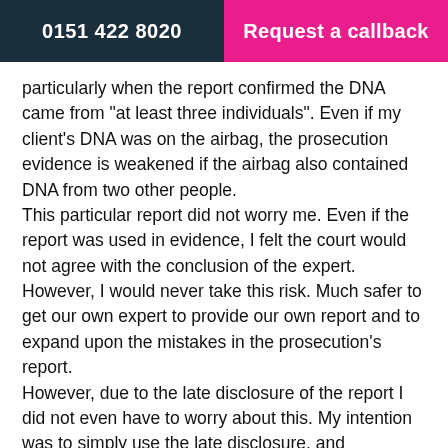0151 422 8020 | Request a callback
particularly when the report confirmed the DNA came from "at least three individuals". Even if my client's DNA was on the airbag, the prosecution evidence is weakened if the airbag also contained DNA from two other people.
This particular report did not worry me. Even if the report was used in evidence, I felt the court would not agree with the conclusion of the expert. However, I would never take this risk. Much safer to get our own expert to provide our own report and to expand upon the mistakes in the prosecution's report.
However, due to the late disclosure of the report I did not even have to worry about this. My intention was to simply use the late disclosure, and inaccuracies in the report, to exclude it.